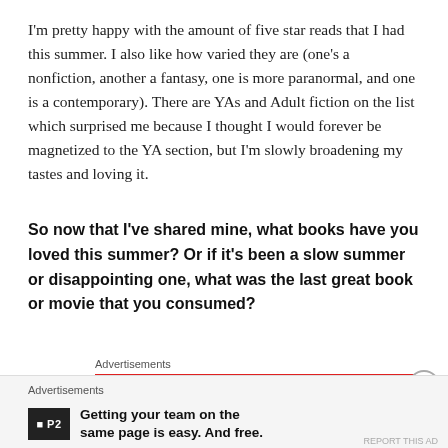I'm pretty happy with the amount of five star reads that I had this summer. I also like how varied they are (one's a nonfiction, another a fantasy, one is more paranormal, and one is a contemporary). There are YAs and Adult fiction on the list which surprised me because I thought I would forever be magnetized to the YA section, but I'm slowly broadening my tastes and loving it.
So now that I've shared mine, what books have you loved this summer? Or if it's been a slow summer or disappointing one, what was the last great book or movie that you consumed?
Advertisements
[Figure (other): Red advertisement banner with white bold text reading 'An app by']
Advertisements
Getting your team on the same page is easy. And free.